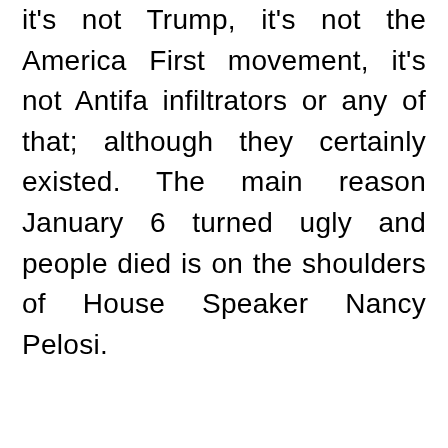it's not Trump, it's not the America First movement, it's not Antifa infiltrators or any of that; although they certainly existed. The main reason January 6 turned ugly and people died is on the shoulders of House Speaker Nancy Pelosi.